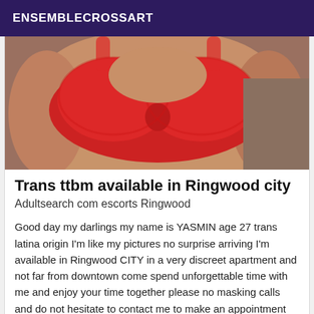ENSEMBLECROSSART
[Figure (photo): Photo of a person wearing a red lace bra, torso shot]
Trans ttbm available in Ringwood city
Adultsearch com escorts Ringwood
Good day my darlings my name is YASMIN age 27 trans latina origin I'm like my pictures no surprise arriving I'm available in Ringwood CITY in a very discreet apartment and not far from downtown come spend unforgettable time with me and enjoy your time together please no masking calls and do not hesitate to contact me to make an appointment kisses and very quickly.
Verified